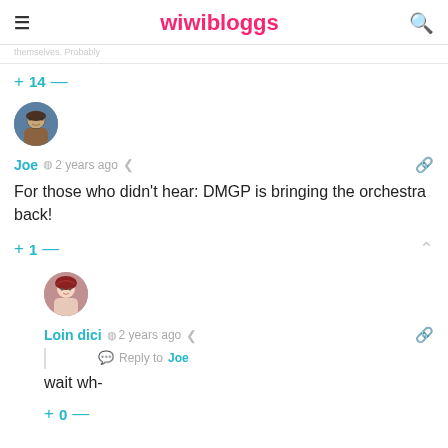wiwibloggs
themselves. Probably
+ 14 —
[Figure (photo): User avatar for Joe — cartoon character photo in circular frame]
Joe  2 years ago
For those who didn't hear: DMGP is bringing the orchestra back!
+ 1 —
[Figure (photo): User avatar for Loin dici — woman with red hair in circular frame]
Loin dici  2 years ago
Reply to Joe
wait wh-
+ 0 —